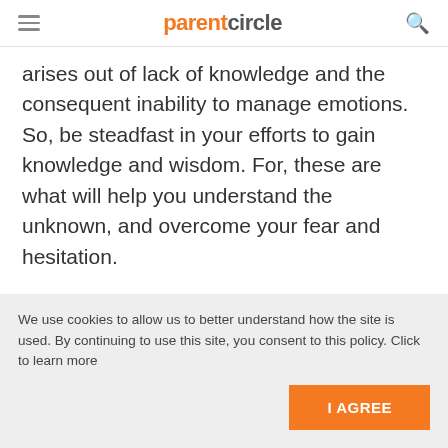parentcircle
arises out of lack of knowledge and the consequent inability to manage emotions. So, be steadfast in your efforts to gain knowledge and wisdom. For, these are what will help you understand the unknown, and overcome your fear and hesitation.
We use cookies to allow us to better understand how the site is used. By continuing to use this site, you consent to this policy. Click to learn more
I AGREE